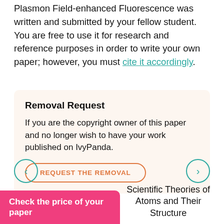Plasmon Field-enhanced Fluorescence was written and submitted by your fellow student. You are free to use it for research and reference purposes in order to write your own paper; however, you must cite it accordingly.
Removal Request
If you are the copyright owner of this paper and no longer wish to have your work published on IvyPanda.
REQUEST THE REMOVAL
Effects of Rubber Modifi...
Scientific Theories of Atoms and Their Structure
Check the price of your paper